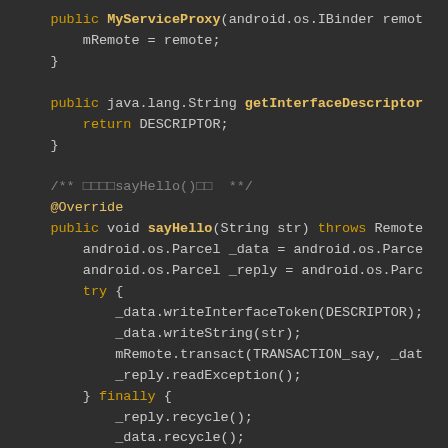[Figure (screenshot): Dark-themed code editor screenshot showing Java Android AIDL proxy code with syntax highlighting. Orange/yellow keywords, white/grey identifiers, monospace font on dark background.]